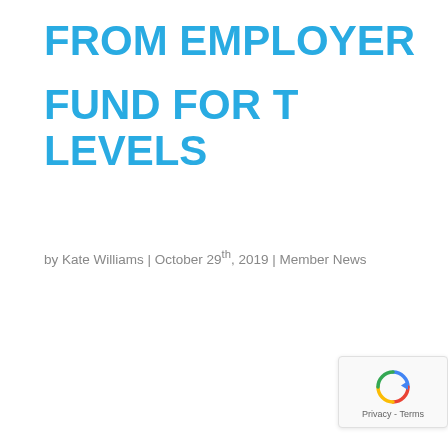FROM EMPLOYER FUND FOR T LEVELS
by Kate Williams | October 29th, 2019 | Member News